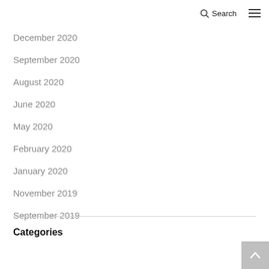Search ☰
December 2020
September 2020
August 2020
June 2020
May 2020
February 2020
January 2020
November 2019
September 2019
Categories